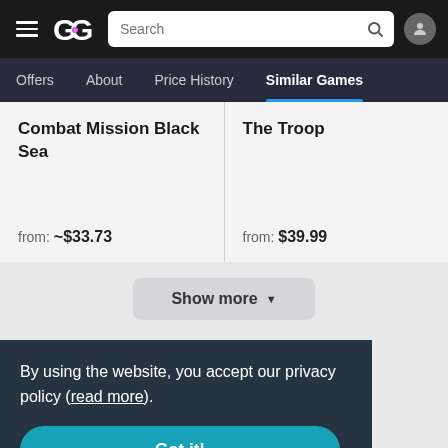GG Search bar navigation
Offers | About | Price History | Similar Games
Combat Mission Black Sea — from: ~$33.73
The Troop — from: $39.99
Show more ▼
By using the website, you accept our privacy policy (read more).
Got it!
suggest your ideas.